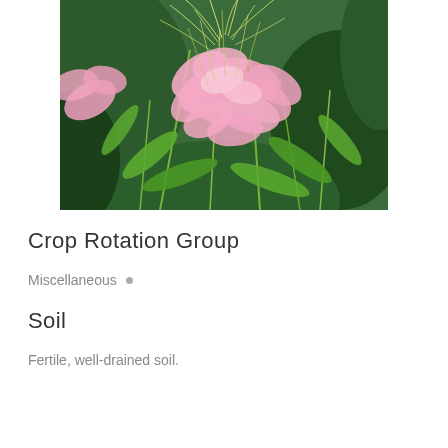[Figure (photo): Close-up photograph of pink cleome (spider flower) blossoms with long stamens and green stems against a blurred green background.]
Crop Rotation Group
Miscellaneous •
Soil
Fertile, well-drained soil.